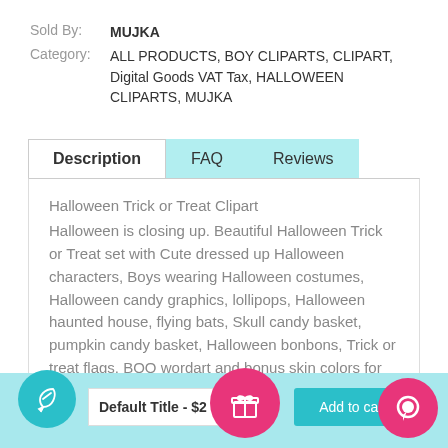Sold By: MUJKA
Category: ALL PRODUCTS, BOY CLIPARTS, CLIPART, Digital Goods VAT Tax, HALLOWEEN CLIPARTS, MUJKA
Description | FAQ | Reviews
Halloween Trick or Treat Clipart
Halloween is closing up. Beautiful Halloween Trick or Treat set with Cute dressed up Halloween characters, Boys wearing Halloween costumes, Halloween candy graphics, lollipops, Halloween haunted house, flying bats, Skull candy basket, pumpkin candy basket, Halloween bonbons, Trick or treat flags, BOO wordart and bonus skin colors for characters. Perfect for invitations, party tables and embroidery
Default Title - $2
Add to cart